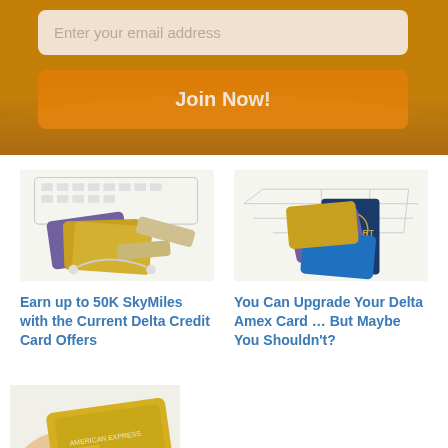Enter your email address
Join Now!
[Figure (photo): Credit cards, USB drives, earphones and accessories on white background]
Earn up to 50K SkyMiles with the Current Delta Credit Card Offers
[Figure (photo): Credit cards and passport on wireframe airplane background]
You Can Upgrade Your Delta Amex Card … But Maybe You Shouldn't?
[Figure (photo): Hand holding American Express gold credit card]